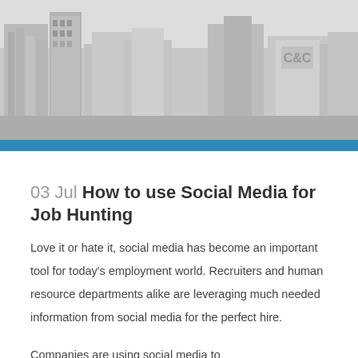[Figure (photo): Grayscale photo of urban city skyline with tall office buildings and skyscrapers]
03 Jul How to use Social Media for Job Hunting
Love it or hate it, social media has become an important tool for today’s employment world. Recruiters and human resource departments alike are leveraging much needed information from social media for the perfect hire.
Companies are using social media to